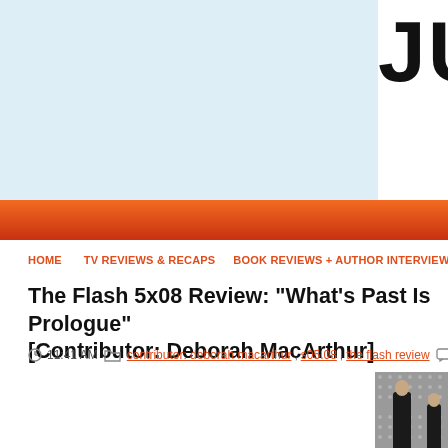JUST ABO
HOME   TV REVIEWS & RECAPS   BOOK REVIEWS + AUTHOR INTERVIEWS   ME
The Flash 5x08 Review: "What's Past Is Prologue" [Contributor: Deborah MacArthur]
11:41 AM   contributor: deborah macarthur, s05.08, the flash review   No
[Figure (photo): Two people standing in front of a dotted/studded grey wall, both dressed in black clothing]